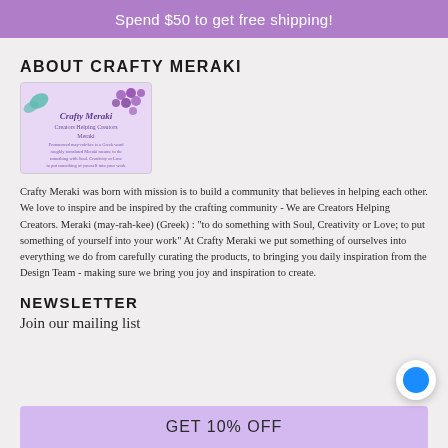Spend $50 to get free shipping!
ABOUT CRAFTY MERAKI
[Figure (logo): Crafty Meraki logo with butterfly decorations and text 'Creators Helping Creators Meraki']
Crafty Meraki was born with mission is to build a community that believes in helping each other. We love to inspire and be inspired by the crafting community - We are Creators Helping Creators. Meraki (may-rah-kee) (Greek) : "to do something with Soul, Creativity or Love; to put something of yourself into your work" At Crafty Meraki we put something of ourselves into everything we do from carefully curating the products, to bringing you daily inspiration from the Design Team - making sure we bring you joy and inspiration to create.
NEWSLETTER
Join our mailing list
GET 10% OFF